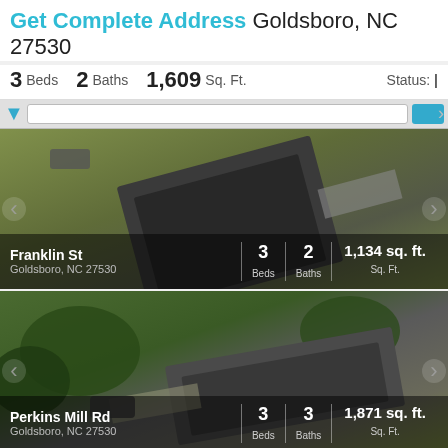Get Complete Address Goldsboro, NC 27530
3 Beds  2 Baths  1,609 Sq. Ft.  Status:
[Figure (photo): Aerial view of property on Franklin St, Goldsboro NC 27530. 3 Beds, 2 Baths, 1,134 sq. ft.]
[Figure (photo): Aerial view of property on Perkins Mill Rd, Goldsboro NC 27530. 3 Beds, 3 Baths, 1,871 sq. ft.]
Goldsboro Foreclosures
Goldsboro Rent To Own